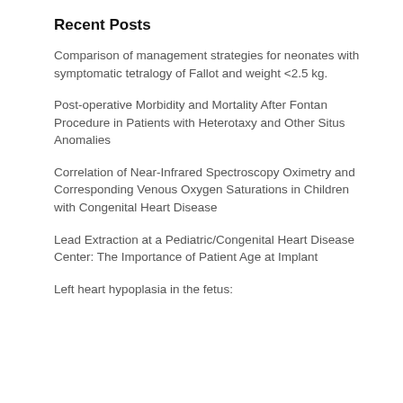Recent Posts
Comparison of management strategies for neonates with symptomatic tetralogy of Fallot and weight <2.5 kg.
Post-operative Morbidity and Mortality After Fontan Procedure in Patients with Heterotaxy and Other Situs Anomalies
Correlation of Near-Infrared Spectroscopy Oximetry and Corresponding Venous Oxygen Saturations in Children with Congenital Heart Disease
Lead Extraction at a Pediatric/Congenital Heart Disease Center: The Importance of Patient Age at Implant
Left heart hypoplasia in the fetus: